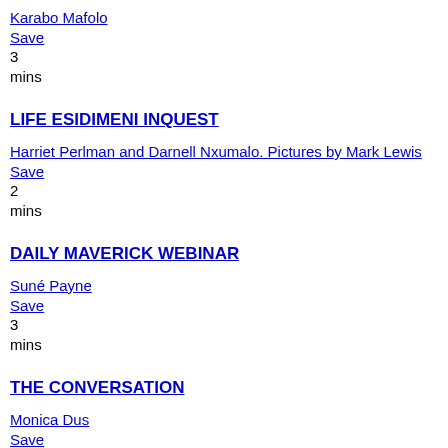Karabo Mafolo
Save
3
mins
LIFE ESIDIMENI INQUEST
Harriet Perlman and Darnell Nxumalo. Pictures by Mark Lewis
Save
2
mins
DAILY MAVERICK WEBINAR
Suné Payne
Save
3
mins
THE CONVERSATION
Monica Dus
Save